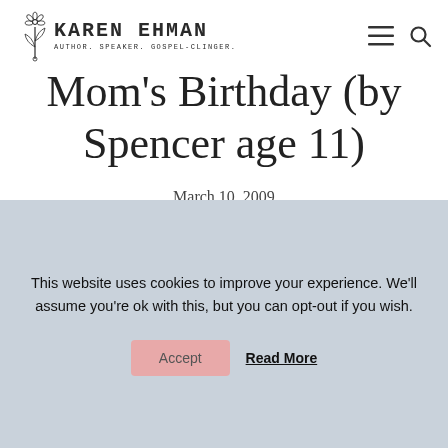KAREN EHMAN — AUTHOR. SPEAKER. GOSPEL-CLINGER.
Mom's Birthday (by Spencer age 11)
March 10, 2009
This website uses cookies to improve your experience. We'll assume you're ok with this, but you can opt-out if you wish.
Accept   Read More